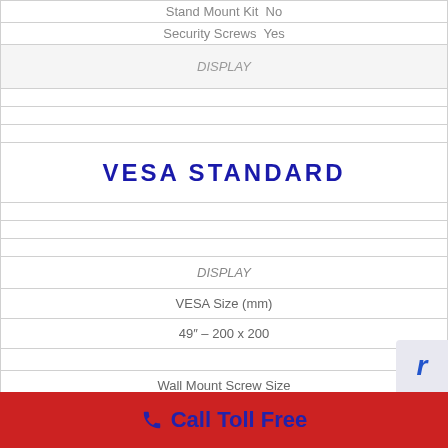| Stand Mount Kit No |
| Security Screws Yes |
| DISPLAY |
|  |
|  |
|  |
| VESA STANDARD |
|  |
|  |
|  |
| DISPLAY |
| VESA Size (mm) |
| 49″ – 200 x 200 |
|  |
| Wall Mount Screw Size |
Call Toll Free